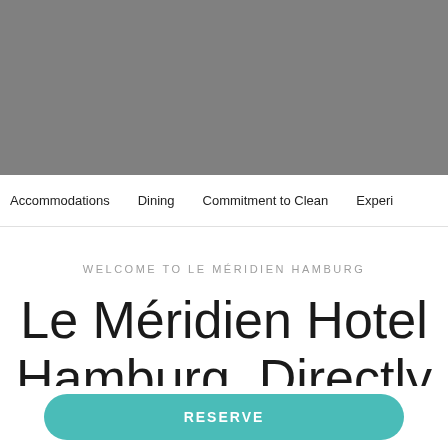[Figure (photo): Gray hero image placeholder at top of hotel webpage]
Accommodations   Dining   Commitment to Clean   Experi...
WELCOME TO LE MÉRIDIEN HAMBURG
Le Méridien Hotel Hamburg. Directly at the Alster Lake
RESERVE